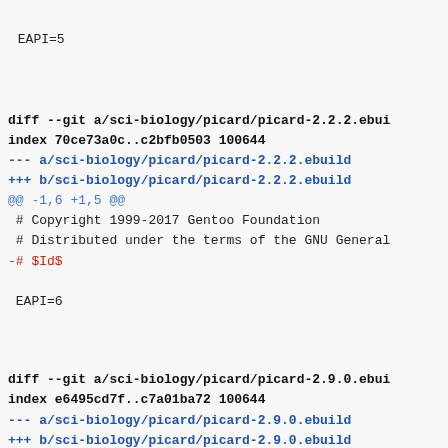EAPI=5
diff --git a/sci-biology/picard/picard-2.2.2.ebui
index 70ce73a0c..c2bfb0503 100644
--- a/sci-biology/picard/picard-2.2.2.ebuild
+++ b/sci-biology/picard/picard-2.2.2.ebuild
@@ -1,6 +1,5 @@
 # Copyright 1999-2017 Gentoo Foundation
 # Distributed under the terms of the GNU General
-# $Id$

 EAPI=6
diff --git a/sci-biology/picard/picard-2.9.0.ebui
index e6495cd7f..c7a01ba72 100644
--- a/sci-biology/picard/picard-2.9.0.ebuild
+++ b/sci-biology/picard/picard-2.9.0.ebuild
@@ -1,6 +1,5 @@
 # Copyright 1999-2017 Gentoo Foundation
 # Distributed under the terms of the GNU General